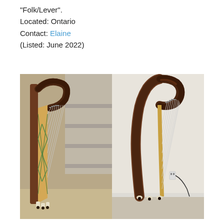"Folk/Lever".
Located: Ontario
Contact: Elaine
(Listed: June 2022)
[Figure (photo): Two photos of a folk/lever harp side by side. Left photo shows the front/soundboard of a wooden harp with decorative geometric inlay pattern in green and tan, dark walnut neck with levers, photographed near a staircase. Right photo shows the side profile of the same or similar harp showing the curved pillar and body in rich walnut finish, photographed against a light wall.]